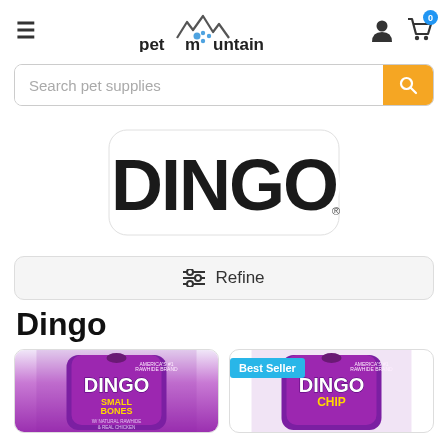petmountain — navigation bar with hamburger menu, logo, user icon, and cart icon (badge: 0)
Search pet supplies
[Figure (logo): Dingo brand logo — large bold black bubble-letter text 'DINGO' with white outline on a white background]
Refine
Dingo
[Figure (photo): Dingo Small Bones product — purple bag with Dingo Small Bones branding]
[Figure (photo): Dingo Chip product — purple bag with 'Best Seller' badge in cyan/blue, Dingo Chip branding visible]